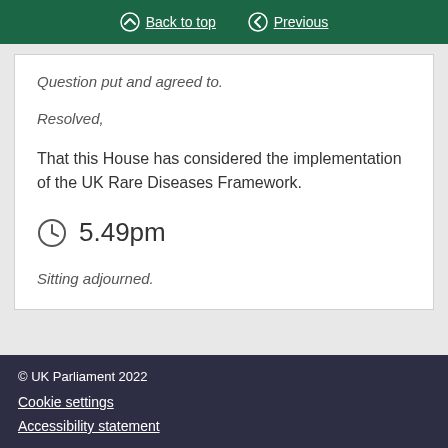Back to top | Previous
Question put and agreed to.
Resolved,
That this House has considered the implementation of the UK Rare Diseases Framework.
5.49pm
Sitting adjourned.
© UK Parliament 2022
Cookie settings
Accessibility statement